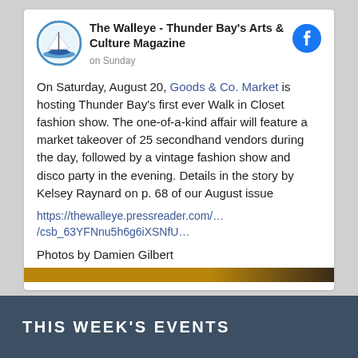[Figure (screenshot): Facebook post from 'The Walleye - Thunder Bay's Arts & Culture Magazine' with avatar logo, Facebook icon, posted 'on Sunday', containing text about Goods & Co. Market Walk in Closet fashion show, a URL link, and photos credit by Damien Gilbert.]
On Saturday, August 20, Goods & Co. Market is hosting Thunder Bay's first ever Walk in Closet fashion show. The one-of-a-kind affair will feature a market takeover of 25 secondhand vendors during the day, followed by a vintage fashion show and disco party in the evening. Details in the story by Kelsey Raynard on p. 68 of our August issue https://thewalleye.pressreader.com/.../csb_63YFNnu5h6g6iXSNfU...
Photos by Damien Gilbert
THIS WEEK'S EVENTS